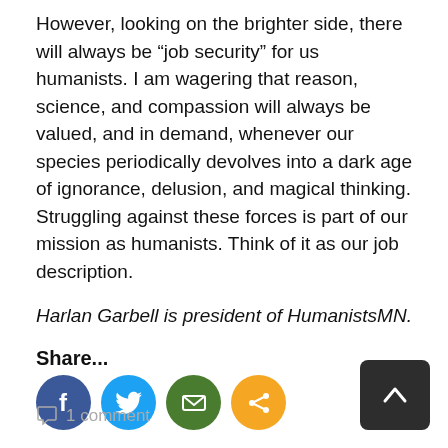However, looking on the brighter side, there will always be “job security” for us humanists. I am wagering that reason, science, and compassion will always be valued, and in demand, whenever our species periodically devolves into a dark age of ignorance, delusion, and magical thinking. Struggling against these forces is part of our mission as humanists. Think of it as our job description.
Harlan Garbell is president of HumanistsMN.
Share...
[Figure (infographic): Four social sharing icon buttons: Facebook (blue circle with f), Twitter (light blue circle with bird), Email (green circle with envelope), Share (orange circle with share icon)]
[Figure (infographic): Back to top button: dark rounded square with white upward chevron arrow]
1 comment